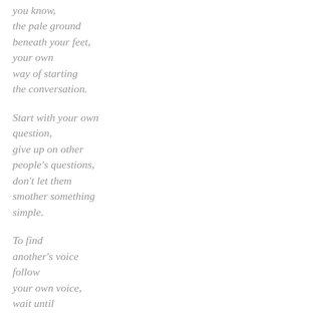you know,
the pale ground
beneath your feet,
your own
way of starting
the conversation.

Start with your own
question,
give up on other
people's questions,
don't let them
smother something
simple.

To find
another's voice
follow
your own voice,
wait until
that voice